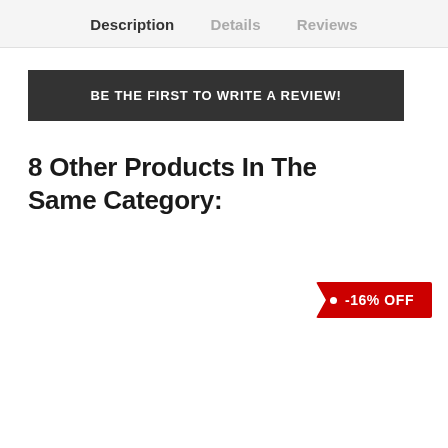Description | Details | Reviews
BE THE FIRST TO WRITE A REVIEW!
8 Other Products In The Same Category:
-16% OFF